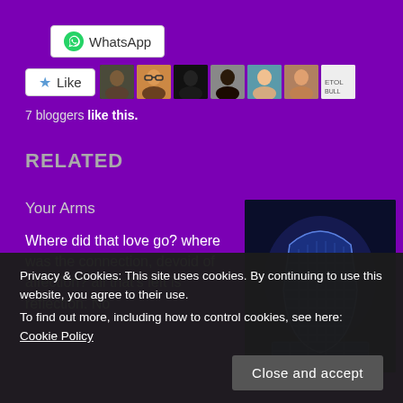[Figure (screenshot): WhatsApp share button with white background and rounded border]
[Figure (screenshot): Like button with star icon and 7 blogger avatar thumbnails]
7 bloggers like this.
RELATED
Your Arms
Where did that love go? where was the connection, devoid of affection? all that's left is reflection. No
[Figure (photo): 3D maze in the shape of a human head profile, glowing blue on dark background]
Privacy & Cookies: This site uses cookies. By continuing to use this website, you agree to their use.
To find out more, including how to control cookies, see here: Cookie Policy
Close and accept